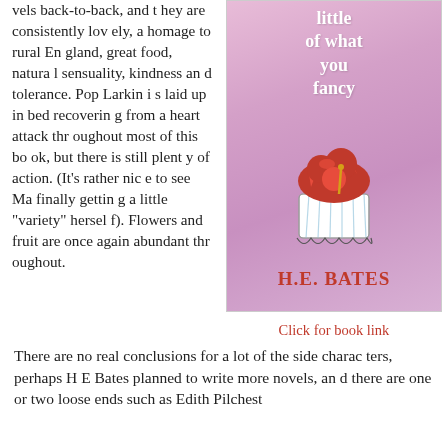vels back-to-back, and they are consistently lovely, a homage to rural England, great food, natural sensuality, kindness and tolerance. Pop Larkin is laid up in bed recovering from a heart attack throughout most of this book, but there is still plenty of action. (It's rather nice to see Ma finally getting a little "variety" herself). Flowers and fruit are once again abundant throughout.
[Figure (illustration): Book cover of 'A Little of What You Fancy' by H.E. Bates. Pink/purple background with a decorative cupcake illustration in red and white. Title text in white, author name in red.]
Click for book link
There are no real conclusions for a lot of the side characters, perhaps H E Bates planned to write more novels, and there are one or two loose ends such as Edith Pilchest